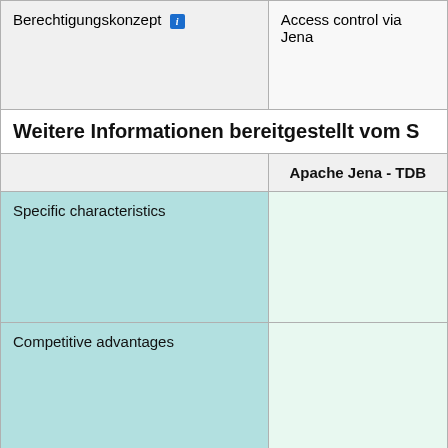|  | Apache Jena - TDB |
| --- | --- |
| Berechtigungskonzept [i] | Access control via Jena... |
| Weitere Informationen bereitgestellt vom S... |  |
|  | Apache Jena - TDB |
| Specific characteristics |  |
| Competitive advantages |  |
| Typical application scenarios |  |